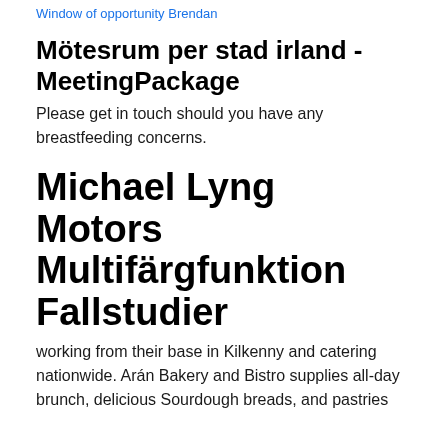Window of opportunity Brendan
Mötesrum per stad irland - MeetingPackage
Please get in touch should you have any breastfeeding concerns.
Michael Lyng Motors Multifärgfunktion Fallstudier
working from their base in Kilkenny and catering nationwide. Arán Bakery and Bistro supplies all-day brunch, delicious Sourdough breads, and pastries